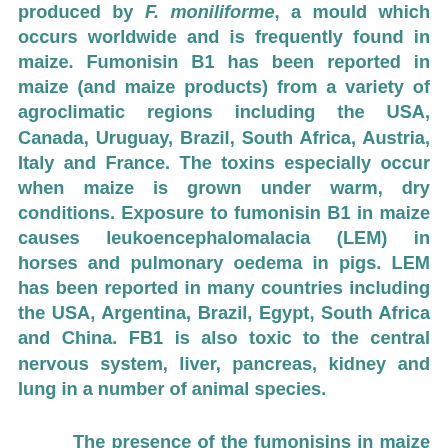produced by F. moniliforme, a mould which occurs worldwide and is frequently found in maize. Fumonisin B1 has been reported in maize (and maize products) from a variety of agroclimatic regions including the USA, Canada, Uruguay, Brazil, South Africa, Austria, Italy and France. The toxins especially occur when maize is grown under warm, dry conditions. Exposure to fumonisin B1 in maize causes leukoencephalomalacia (LEM) in horses and pulmonary oedema in pigs. LEM has been reported in many countries including the USA, Argentina, Brazil, Egypt, South Africa and China. FB1 is also toxic to the central nervous system, liver, pancreas, kidney and lung in a number of animal species.
The presence of the fumonisins in maize has been linked with the occurrence of human oesophageal cancer in the Transkei, southern